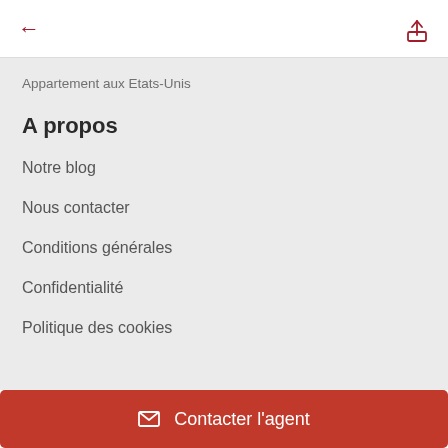← ↑ (navigation icons)
Appartement aux Etats-Unis
A propos
Notre blog
Nous contacter
Conditions générales
Confidentialité
Politique des cookies
✉ Contacter l'agent